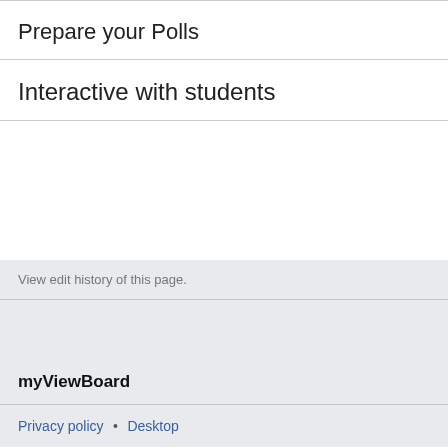Prepare your Polls
Interactive with students
View edit history of this page.
myViewBoard
Privacy policy • Desktop